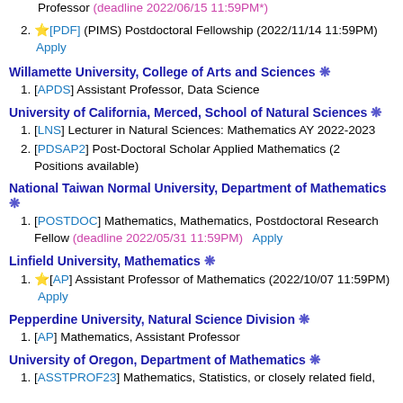Professor (deadline 2022/06/15 11:59PM*)
[PDF] (PIMS) Postdoctoral Fellowship (2022/11/14 11:59PM) Apply
Willamette University, College of Arts and Sciences ❄
[APDS] Assistant Professor, Data Science
University of California, Merced, School of Natural Sciences ❄
[LNS] Lecturer in Natural Sciences: Mathematics AY 2022-2023
[PDSAP2] Post-Doctoral Scholar Applied Mathematics (2 Positions available)
National Taiwan Normal University, Department of Mathematics ❄
[POSTDOC] Mathematics, Mathematics, Postdoctoral Research Fellow (deadline 2022/05/31 11:59PM) Apply
Linfield University, Mathematics ❄
[AP] Assistant Professor of Mathematics (2022/10/07 11:59PM) Apply
Pepperdine University, Natural Science Division ❄
[AP] Mathematics, Assistant Professor
University of Oregon, Department of Mathematics ❄
[ASSTPROF23] Mathematics, Statistics, or closely related field,